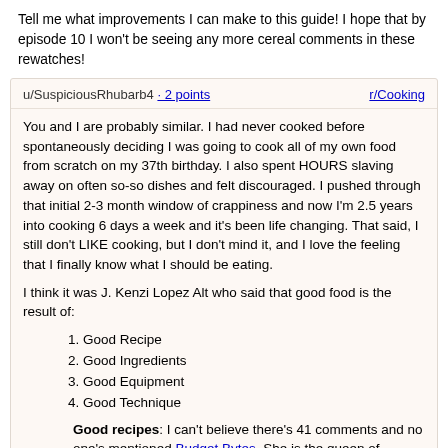Tell me what improvements I can make to this guide! I hope that by episode 10 I won't be seeing any more cereal comments in these rewatches!
u/SuspiciousRhubarb4 · 2 points    r/Cooking
You and I are probably similar. I had never cooked before spontaneously deciding I was going to cook all of my own food from scratch on my 37th birthday. I also spent HOURS slaving away on often so-so dishes and felt discouraged. I pushed through that initial 2-3 month window of crappiness and now I'm 2.5 years into cooking 6 days a week and it's been life changing. That said, I still don't LIKE cooking, but I don't mind it, and I love the feeling that I finally know what I should be eating.
I think it was J. Kenzi Lopez Alt who said that good food is the result of:
Good Recipe
Good Ingredients
Good Equipment
Good Technique
Good recipes: I can't believe there's 41 comments and no one's mentioned Budget Bytes. She is the queen of pragmatic, low cost, fast-enough, from-scratch, healthy weeknight dinners. For your first couple of months of cooking try focusing on just